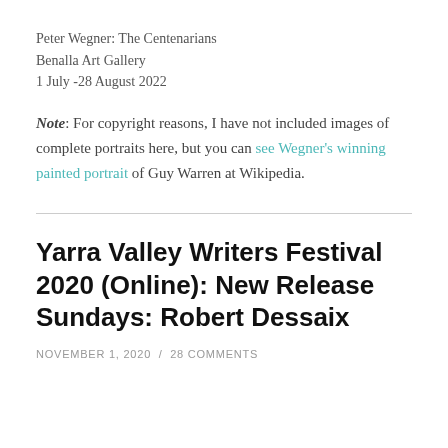Peter Wegner: The Centenarians
Benalla Art Gallery
1 July -28 August 2022
Note: For copyright reasons, I have not included images of complete portraits here, but you can see Wegner's winning painted portrait of Guy Warren at Wikipedia.
Yarra Valley Writers Festival 2020 (Online): New Release Sundays: Robert Dessaix
NOVEMBER 1, 2020 / 28 COMMENTS